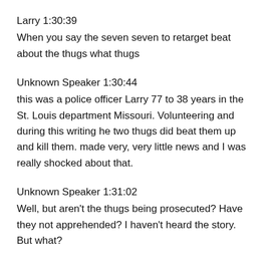Larry 1:30:39
When you say the seven seven to retarget beat about the thugs what thugs
Unknown Speaker 1:30:44
this was a police officer Larry 77 to 38 years in the St. Louis department Missouri. Volunteering and during this writing he two thugs did beat them up and kill them. made very, very little news and I was really shocked about that.
Unknown Speaker 1:31:02
Well, but aren't the thugs being prosecuted? Have they not apprehended? I haven't heard the story. But what?